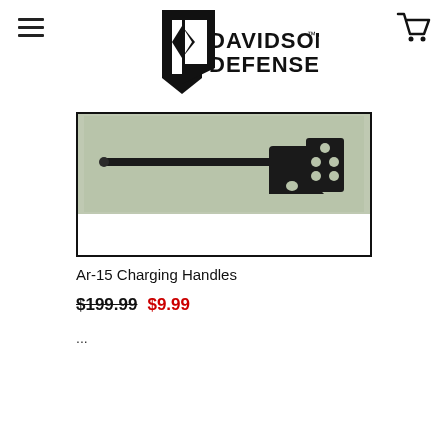[Figure (logo): Davidson Defense logo with stylized DD shield and text]
[Figure (photo): AR-15 charging handle product photo on green-grey background]
Ar-15 Charging Handles
$199.99 $9.99
...